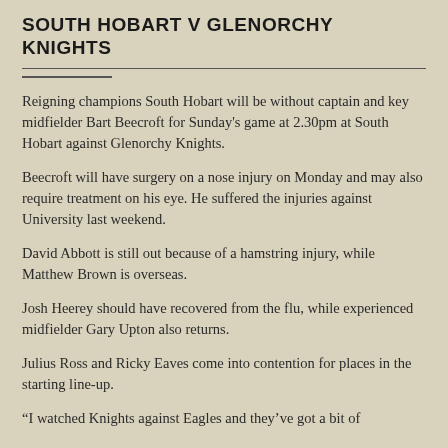SOUTH HOBART V GLENORCHY KNIGHTS
Reigning champions South Hobart will be without captain and key midfielder Bart Beecroft for Sunday's game at 2.30pm at South Hobart against Glenorchy Knights.
Beecroft will have surgery on a nose injury on Monday and may also require treatment on his eye. He suffered the injuries against University last weekend.
David Abbott is still out because of a hamstring injury, while Matthew Brown is overseas.
Josh Heerey should have recovered from the flu, while experienced midfielder Gary Upton also returns.
Julius Ross and Ricky Eaves come into contention for places in the starting line-up.
“I watched Knights against Eagles and they’ve got a bit of